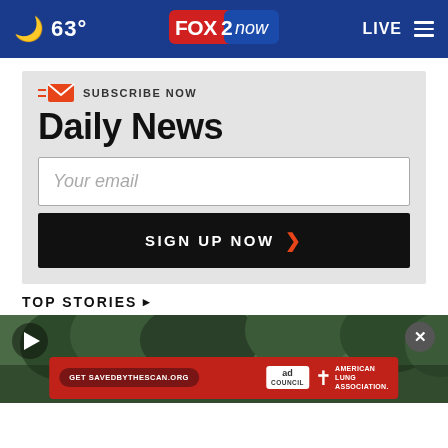63° FOX 2 now LIVE
SUBSCRIBE NOW
Daily News
Your email
SIGN UP NOW
TOP STORIES ›
[Figure (screenshot): Video thumbnail with play button, close button, and ad overlay showing 'Get SAVEDBYTHESCAN.ORG' with Ad Council and American Lung Association logos on a dark green background.]